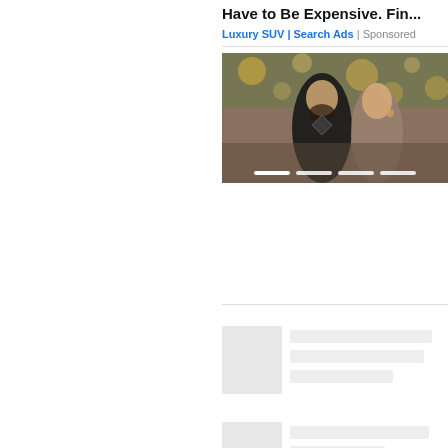Have to Be Expensive. Fin...
Luxury SUV | Search Ads | Sponsored
[Figure (photo): A couple smiling and posing together at an event with bokeh lights and greenery in the background. A slideshow with 4 navigation indicator bars is shown at the bottom.]
[Figure (other): Loading skeleton card with a grey image placeholder on the left and three grey text line placeholders on the right]
[Figure (other): Loading skeleton card with a grey image placeholder on the left and two grey text line placeholders on the right (partially visible)]